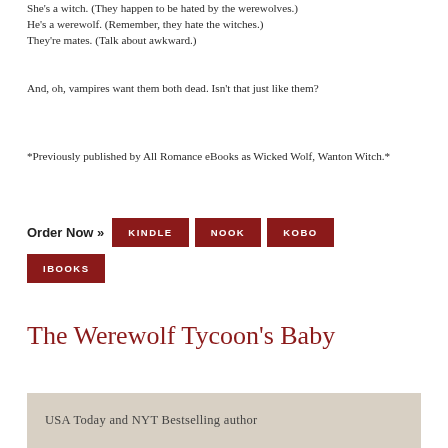She's a witch. (They happen to be hated by the werewolves.)
He's a werewolf. (Remember, they hate the witches.)
They're mates. (Talk about awkward.)
And, oh, vampires want them both dead. Isn't that just like them?
*Previously published by All Romance eBooks as Wicked Wolf, Wanton Witch.*
Order Now » KINDLE  NOOK  KOBO
IBOOKS
The Werewolf Tycoon's Baby
USA Today and NYT Bestselling author